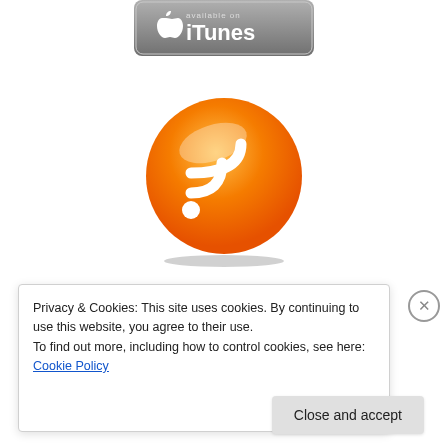[Figure (logo): iTunes podcast badge - grey rounded rectangle with Apple logo and 'iTunes' text]
[Figure (logo): RSS feed icon - orange circle with white RSS signal symbol]
[Figure (logo): Stitcher Smart Radio badge - black rectangle with 'Hear Us On STITCHER SMART RADIO' text and color bar]
Privacy & Cookies: This site uses cookies. By continuing to use this website, you agree to their use.
To find out more, including how to control cookies, see here: Cookie Policy
Close and accept